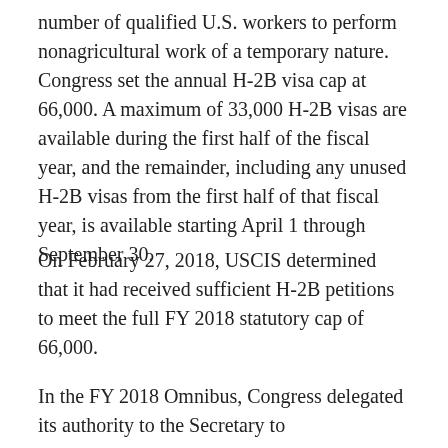number of qualified U.S. workers to perform nonagricultural work of a temporary nature. Congress set the annual H-2B visa cap at 66,000. A maximum of 33,000 H-2B visas are available during the first half of the fiscal year, and the remainder, including any unused H-2B visas from the first half of that fiscal year, is available starting April 1 through September 30.
On February 27, 2018, USCIS determined that it had received sufficient H-2B petitions to meet the full FY 2018 statutory cap of 66,000.
In the FY 2018 Omnibus, Congress delegated its authority to the Secretary to